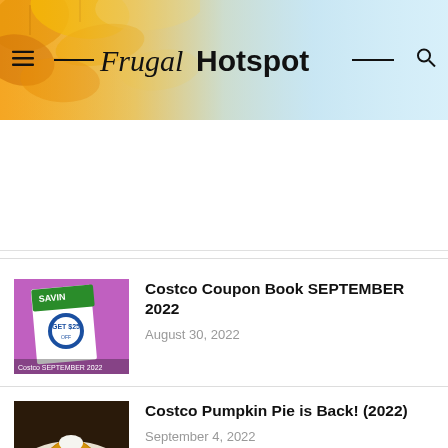[Figure (screenshot): Frugal Hotspot website header with autumn leaves background on the left fading to light blue, with hamburger menu icon on left, search icon on right, and the site logo 'Frugal Hotspot' in the center with decorative dashes]
[Figure (photo): Costco coupon book for September 2022 on a colorful background]
Costco Coupon Book SEPTEMBER 2022
August 30, 2022
[Figure (photo): Pumpkin pie slice on a plate with decorative pumpkins]
Costco Pumpkin Pie is Back! (2022)
September 4, 2022